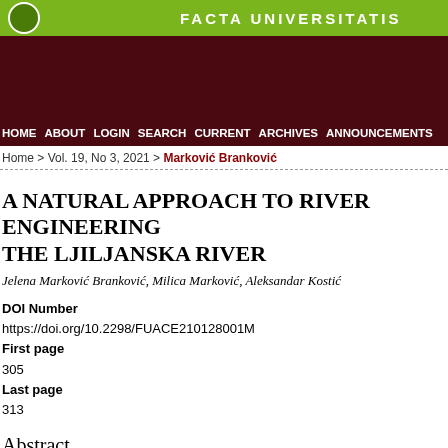FACTA UNIVERSITATIS
HOME  ABOUT  LOGIN  SEARCH  CURRENT  ARCHIVES  ANNOUNCEMENTS
Home > Vol. 19, No 3, 2021 > Marković Branković
A NATURAL APPROACH TO RIVER ENGINEERING THE LJILJANSKA RIVER
Jelena Marković Branković, Milica Marković, Aleksandar Kostić
DOI Number
https://doi.org/10.2298/FUACE210128001M
First page
305
Last page
313
Abstract